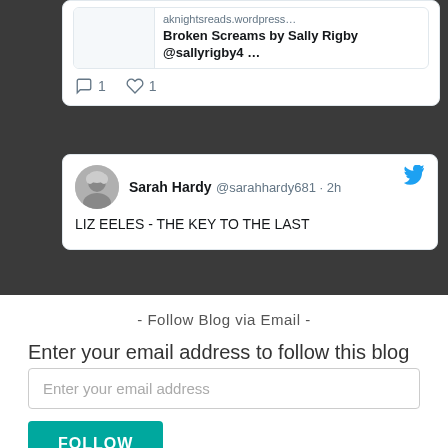[Figure (screenshot): Tweet link preview card showing 'aknightsreads.wordpress...' and 'Broken Screams by Sally Rigby @sallyrigby4 ...' with comment count 1 and like count 1]
[Figure (screenshot): Tweet by Sarah Hardy @sarahhardy681 · 2h: 'LIZ EELES - THE KEY TO THE LAST' with Twitter bird icon]
- Follow Blog via Email -
Enter your email address to follow this blog and receive notifications of new posts by email.
[Figure (screenshot): Email input field with placeholder 'Enter your email address' and a teal FOLLOW button below]